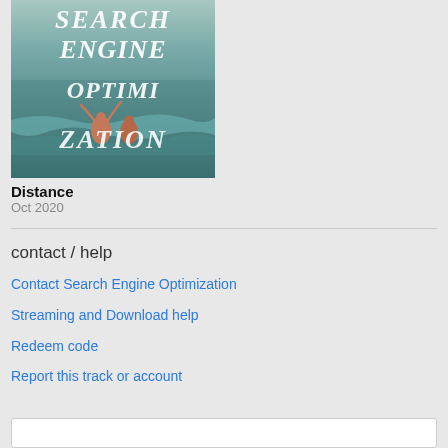[Figure (illustration): Album cover with text 'SEARCH ENGINE OPTIMIZATION' overlaid on a beach/ocean scene with people in the water, white italic serif text on teal background]
Distance
Oct 2020
contact / help
Contact Search Engine Optimization
Streaming and Download help
Redeem code
Report this track or account